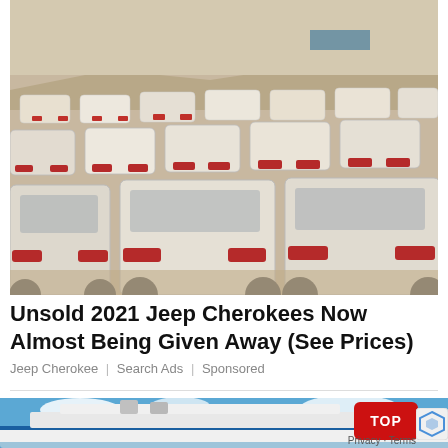[Figure (photo): Large parking lot filled with rows of white cars (viewed from the rear), dusty desert-like environment, industrial buildings and hills in the background.]
Unsold 2021 Jeep Cherokees Now Almost Being Given Away (See Prices)
Jeep Cherokee | Search Ads | Sponsored
[Figure (photo): Partial view of a large cruise ship against a blue sky with clouds. A red 'TOP' button overlay and a reCAPTCHA logo are visible in the lower right corner, along with 'Privacy · Terms' text.]